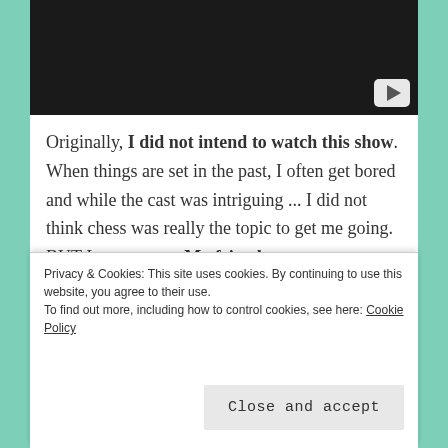[Figure (screenshot): Video thumbnail with dark/black background and a YouTube-style play button in the bottom-right corner]
Originally, I did not intend to watch this show. When things are set in the past, I often get bored and while the cast was intriguing ... I did not think chess was really the topic to get me going. BUT I was wrong. My friends were so enthusiastic about it though (yes, sometimes I do listen to other people when it comes to TV. Rarely, but it does happen), I had no choice but to give it a shot.
Privacy & Cookies: This site uses cookies. By continuing to use this website, you agree to their use.
To find out more, including how to control cookies, see here: Cookie Policy
Close and accept
exposition and repetition of certain elements.